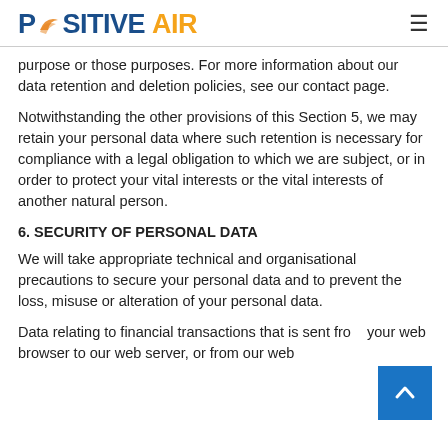POSITIVE AIR
purpose or those purposes. For more information about our data retention and deletion policies, see our contact page.
Notwithstanding the other provisions of this Section 5, we may retain your personal data where such retention is necessary for compliance with a legal obligation to which we are subject, or in order to protect your vital interests or the vital interests of another natural person.
6. SECURITY OF PERSONAL DATA
We will take appropriate technical and organisational precautions to secure your personal data and to prevent the loss, misuse or alteration of your personal data.
Data relating to financial transactions that is sent from your web browser to our web server, or from our web